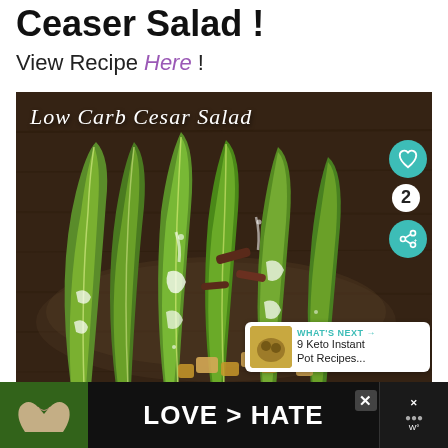Ceaser Salad !
View Recipe Here !
[Figure (photo): Photo of Low Carb Cesar Salad - romaine lettuce leaves with dressing and anchovies on a dark wooden background, with social sharing overlay buttons and a 'What's Next: 9 Keto Instant Pot Recipes...' widget]
[Figure (photo): Advertisement banner at the bottom: hands forming a heart shape against green background with text 'LOVE > HATE' and an X close button]